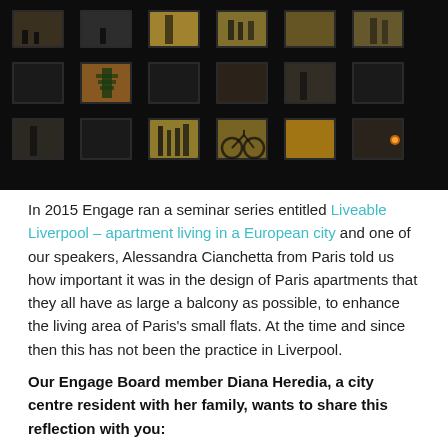[Figure (photo): Night-time photograph of an apartment building facade showing illuminated windows with silhouettes of residents visible inside various units against a dark exterior.]
In 2015 Engage ran a seminar series entitled Liveable Liverpool – apartment living in a European city and one of our speakers, Alessandra Cianchetta from Paris told us how important it was in the design of Paris apartments that they all have as large a balcony as possible, to enhance the living area of Paris's small flats. At the time and since then this has not been the practice in Liverpool.
Our Engage Board member Diana Heredia, a city centre resident with her family, wants to share this reflection with you: